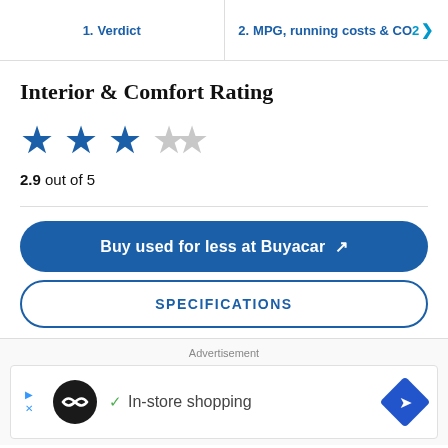1. Verdict | 2. MPG, running costs & CO2
Interior & Comfort Rating
2.9 out of 5
Buy used for less at Buyacar ↗
SPECIFICATIONS
Advertisement
[Figure (other): Advertisement banner with Loops logo and text 'In-store shopping' with navigation icon]